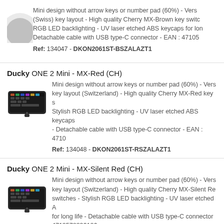Mini design without arrow keys or number pad (60%) - Vers (Swiss) key layout - High quality Cherry MX-Brown key switc RGB LED backlighting - UV laser etched ABS keycaps for lon Detachable cable with USB type-C connector - EAN : 47105
Ref: 134047 - DKON2061ST-BSZALAZT1
Ducky ONE 2 Mini - MX-Red (CH)
[Figure (photo): Ducky ONE 2 Mini keyboard with RGB backlighting, black, compact 60% layout]
Mini design without arrow keys or number pad (60%) - Vers key layout (Switzerland) - High quality Cherry MX-Red key s Stylish RGB LED backlighting - UV laser etched ABS keycaps - Detachable cable with USB type-C connector - EAN : 4710
Ref: 134048 - DKON2061ST-RSZALAZT1
Ducky ONE 2 Mini - MX-Silent Red (CH)
[Figure (photo): Ducky ONE 2 Mini keyboard with RGB backlighting, black, compact 60% layout]
Mini design without arrow keys or number pad (60%) - Vers key layout (Switzerland) - High quality Cherry MX-Silent Re switches - Stylish RGB LED backlighting - UV laser etched A for long life - Detachable cable with USB type-C connector 4710578296106
Ref: 134049 - DKON2061ST-SSZALAZT1